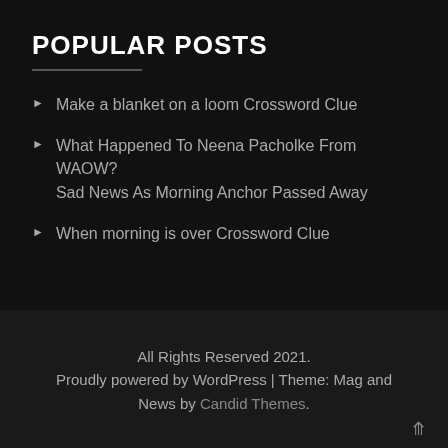POPULAR POSTS
Make a blanket on a loom Crossword Clue
What Happened To Neena Pacholke From WAOW? Sad News As Morning Anchor Passed Away
When morning is over Crossword Clue
All Rights Reserved 2021.
Proudly powered by WordPress | Theme: Mag and News by Candid Themes.